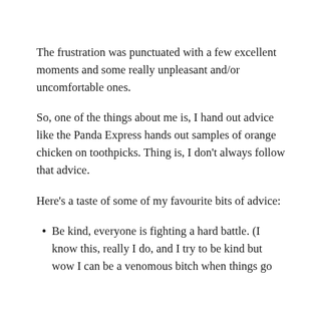The frustration was punctuated with a few excellent moments and some really unpleasant and/or uncomfortable ones.
So, one of the things about me is, I hand out advice like the Panda Express hands out samples of orange chicken on toothpicks.  Thing is, I don’t always follow that advice.
Here’s a taste of some of my favourite bits of advice:
Be kind, everyone is fighting a hard battle. (I know this, really I do, and I try to be kind but wow I can be a venomous bitch when things go